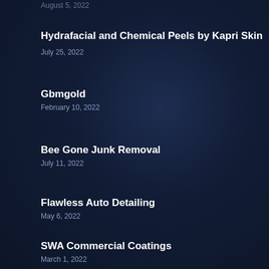August 5, 2022
Hydrafacial and Chemical Peels by Kapri Skin
July 25, 2022
Gbmgold
February 10, 2022
Bee Gone Junk Removal
July 11, 2022
Flawless Auto Detailing
May 6, 2022
SWA Commercial Coatings
March 1, 2022